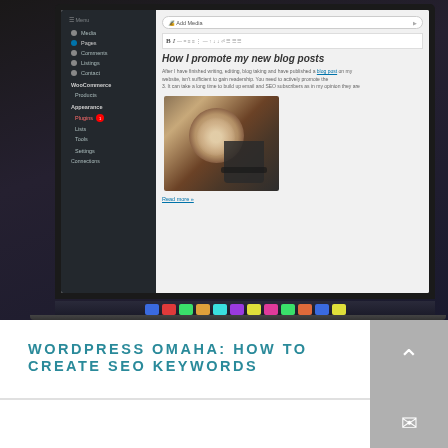[Figure (screenshot): A laptop screen showing a WordPress blog post editor/preview with the title 'How I promote my new blog posts', sidebar navigation, and a coffee cup image in the post content. The laptop taskbar is visible at the bottom with colorful icons.]
WORDPRESS OMAHA: HOW TO CREATE SEO KEYWORDS